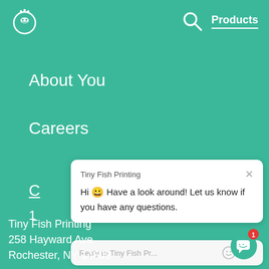[Figure (screenshot): Website navigation screenshot with teal background showing Tiny Fish Printing website with logo, search icon, Products menu, About You and Careers nav items, and a chat popup.]
Products
About You
Careers
C
1
Tiny Fish Printing
Hi 😀 Have a look around! Let us know if you have any questions.
Reply to Tiny Fish Pr...
Tiny Fish Printing
258 Hayward Ave.
Rochester, NY 14609